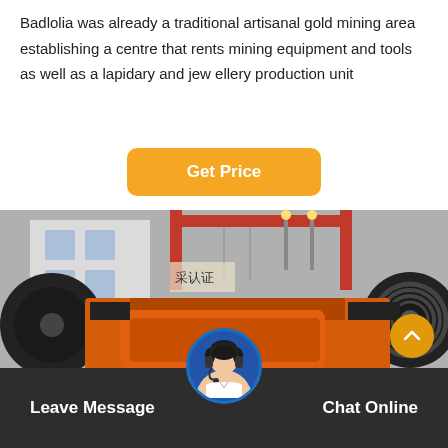Badlolia was already a traditional artisanal gold mining area establishing a centre that rents mining equipment and tools as well as a lapidary and jewellery production unit
[Figure (other): Orange industrial jaw crusher machine with large black flywheels, photographed outdoors in a factory yard with red crane structure in background]
Leave Message   Chat Online